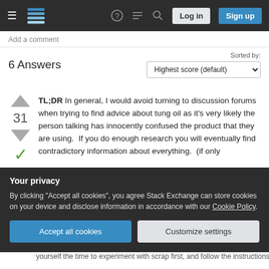Stack Exchange navigation bar with hamburger menu, logo, help, chat, search icons, Log in and Sign up buttons
Add a comment
6 Answers
Sorted by: Highest score (default)
TL;DR In general, I would avoid turning to discussion forums when trying to find advice about tung oil as it's very likely the person talking has innocently confused the product that they are using. If you do enough research you will eventually find contradictory information about everything. (if only
Your privacy
By clicking "Accept all cookies", you agree Stack Exchange can store cookies on your device and disclose information in accordance with our Cookie Policy.
Accept all cookies  Customize settings
yourself the time to experiment with scrap first, and follow the instructions on the label.